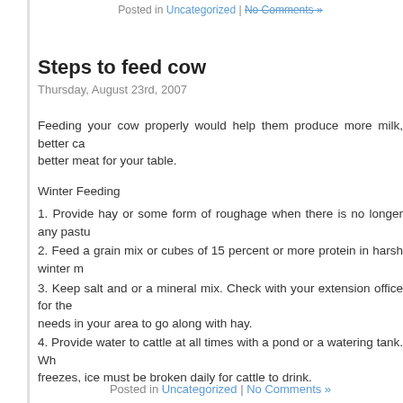Posted in Uncategorized | No Comments »
Steps to feed cow
Thursday, August 23rd, 2007
Feeding your cow properly would help them produce more milk, better ca... better meat for your table.
Winter Feeding
1. Provide hay or some form of roughage when there is no longer any pastu...
2. Feed a grain mix or cubes of 15 percent or more protein in harsh winter m...
3. Keep salt and or a mineral mix. Check with your extension office for the... needs in your area to go along with hay.
4. Provide water to cattle at all times with a pond or a watering tank. Wh... freezes, ice must be broken daily for cattle to drink.
Summer Feeding
1. Provide cattle with pasture – about an acre per cow depending on type of...
2. Watch for loose stools early in spring due to green grass. Early gra... mostly water and do not provide many vitamins and minerals. You will need... supplementing your pasture with hay and feed.
3. Provide salt or mineral mix.
4. Provide water at all times.
Posted in Uncategorized | No Comments »